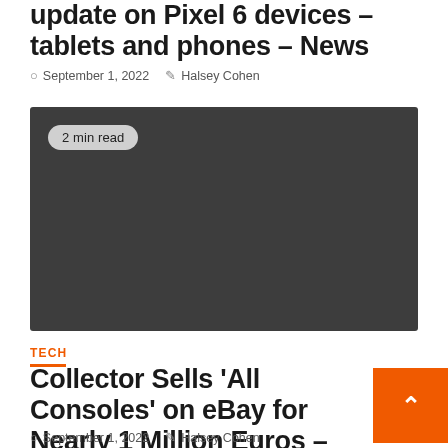update on Pixel 6 devices – tablets and phones – News
September 1, 2022  Halsey Cohen
[Figure (photo): Dark grey placeholder image with a '2 min read' badge in the upper left corner]
TECH
Collector Sells 'All Consoles' on eBay for Nearly 1 Million Euros – Gaming – Geeks
September 1, 2022  Halsey Cohen